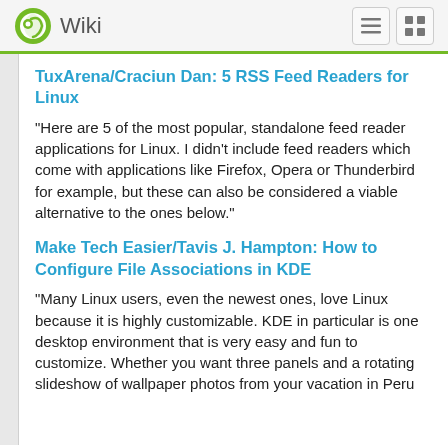Wiki
TuxArena/Craciun Dan: 5 RSS Feed Readers for Linux
"Here are 5 of the most popular, standalone feed reader applications for Linux. I didn't include feed readers which come with applications like Firefox, Opera or Thunderbird for example, but these can also be considered a viable alternative to the ones below."
Make Tech Easier/Tavis J. Hampton: How to Configure File Associations in KDE
"Many Linux users, even the newest ones, love Linux because it is highly customizable. KDE in particular is one desktop environment that is very easy and fun to customize. Whether you want three panels and a rotating slideshow of wallpaper photos from your vacation in Peru